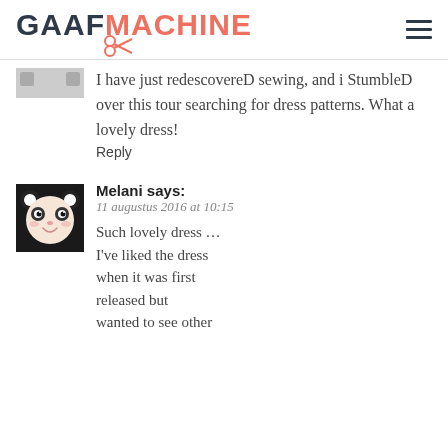GAAFMACHINE
I have just redescovereD sewing, and i StumbleD over this tour searching for dress patterns. What a lovely dress! Reply
Melani says: 11 augustus 2016 at 10:15 Such lovely dress ... I’ve liked the dress when it was first released but wanted to see other
11 augustus 2016 at 10:15